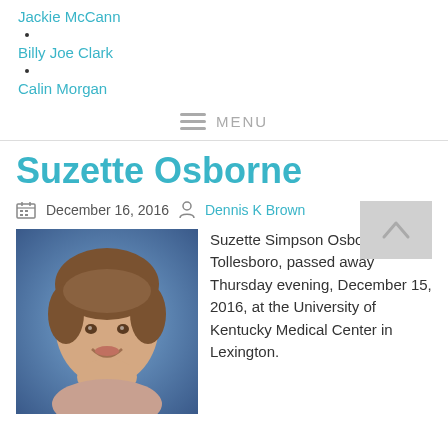Jackie McCann
Billy Joe Clark
Calin Morgan
MENU
Suzette Osborne
December 16, 2016   Dennis K Brown
[Figure (photo): Portrait photo of Suzette Osborne, a woman with short brown hair, smiling, against a blue background]
Suzette Simpson Osborne, 60, of Tollesboro, passed away Thursday evening, December 15, 2016, at the University of Kentucky Medical Center in Lexington.